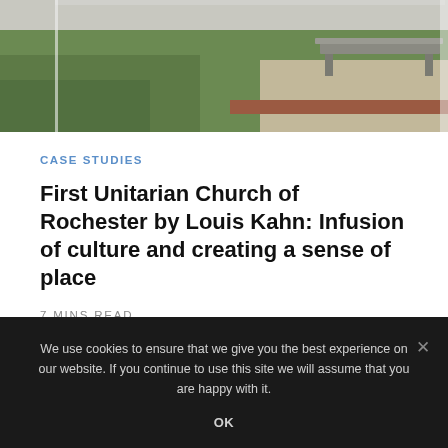[Figure (photo): Exterior photo showing a grass lawn, a concrete bench, and paved walkway, partial view cropped at top]
CASE STUDIES
First Unitarian Church of Rochester by Louis Kahn: Infusion of culture and creating a sense of place
7 MINS READ
We use cookies to ensure that we give you the best experience on our website. If you continue to use this site we will assume that you are happy with it.
OK